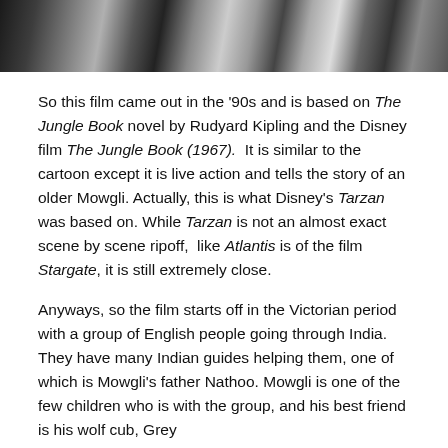[Figure (photo): Black and white photo strip showing a close-up of what appears to be an animal or person partially obscured by grass or foliage.]
So this film came out in the '90s and is based on The Jungle Book novel by Rudyard Kipling and the Disney film The Jungle Book (1967). It is similar to the cartoon except it is live action and tells the story of an older Mowgli. Actually, this is what Disney's Tarzan was based on. While Tarzan is not an almost exact scene by scene ripoff, like Atlantis is of the film Stargate, it is still extremely close.
Anyways, so the film starts off in the Victorian period with a group of English people going through India. They have many Indian guides helping them, one of which is Mowgli's father Nathoo. Mowgli is one of the few children who is with the group, and his best friend is his wolf cub, Grey